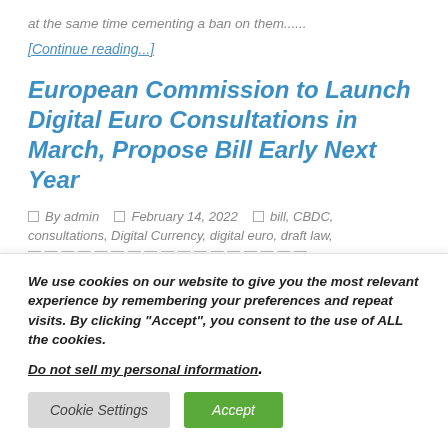at the same time cementing a ban on them......
[Continue reading...]
European Commission to Launch Digital Euro Consultations in March, Propose Bill Early Next Year
By admin   February 14, 2022   bill, CBDC, consultations, Digital Currency, digital euro, draft law,
We use cookies on our website to give you the most relevant experience by remembering your preferences and repeat visits. By clicking “Accept”, you consent to the use of ALL the cookies.
Do not sell my personal information.